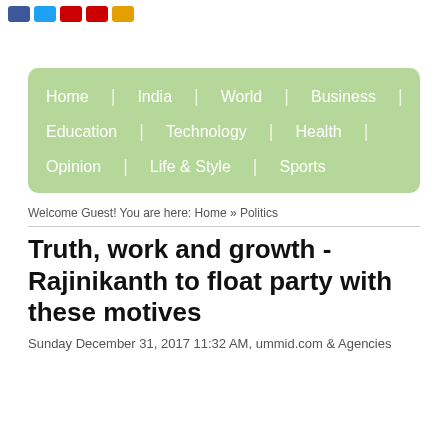[Figure (other): Row of small colored social media icon boxes (blue Facebook, blue Twitter, red, red, orange)]
[Figure (other): Navigation menu box with light green background containing links: Home, India, World, Business, Education, Technology, Health, Opinion, Life & Style, Sports]
Welcome Guest! You are here: Home » Politics
Truth, work and growth - Rajinikanth to float party with these motives
Sunday December 31, 2017 11:32 AM, ummid.com & Agencies